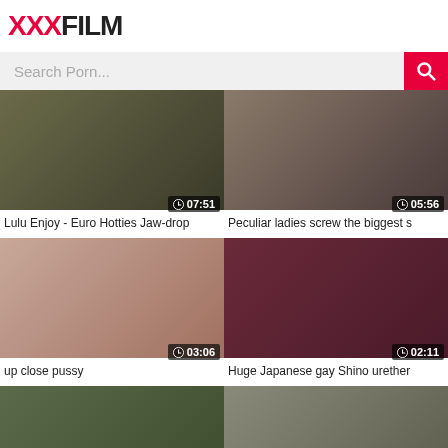XXXFILM
Search Porn...
[Figure (screenshot): Video thumbnail - duration 07:51]
Lulu Enjoy - Euro Hotties Jaw-drop
[Figure (screenshot): Video thumbnail - duration 05:56]
Peculiar ladies screw the biggest s
[Figure (screenshot): Video thumbnail - duration 03:06]
up close pussy
[Figure (screenshot): Video thumbnail - duration 02:11]
Huge Japanese gay Shino urether
[Figure (screenshot): Video thumbnail - duration 04:15]
Big man rod in this tiny girl her wet
[Figure (screenshot): Video thumbnail - duration 08:06]
Mom, I want your warm vag for bre